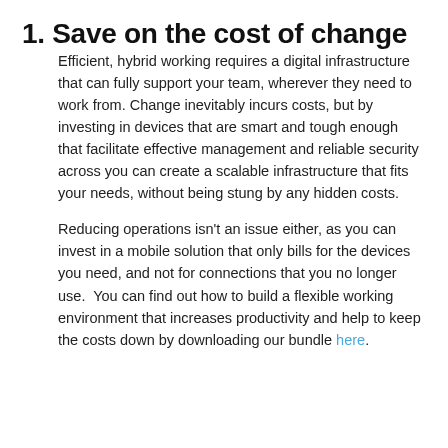1. Save on the cost of change
Efficient, hybrid working requires a digital infrastructure that can fully support your team, wherever they need to work from. Change inevitably incurs costs, but by investing in devices that are smart and tough enough that facilitate effective management and reliable security across you can create a scalable infrastructure that fits your needs, without being stung by any hidden costs.
Reducing operations isn't an issue either, as you can invest in a mobile solution that only bills for the devices you need, and not for connections that you no longer use. You can find out how to build a flexible working environment that increases productivity and help to keep the costs down by downloading our bundle here.